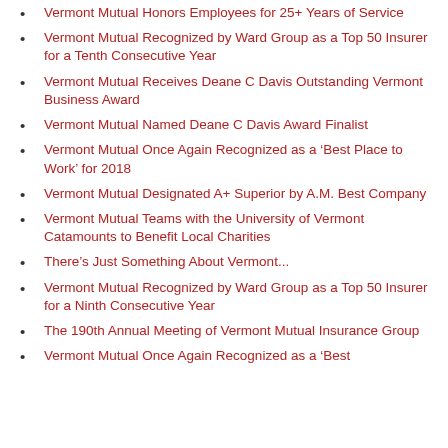Vermont Mutual Honors Employees for 25+ Years of Service
Vermont Mutual Recognized by Ward Group as a Top 50 Insurer for a Tenth Consecutive Year
Vermont Mutual Receives Deane C Davis Outstanding Vermont Business Award
Vermont Mutual Named Deane C Davis Award Finalist
Vermont Mutual Once Again Recognized as a ‘Best Place to Work’ for 2018
Vermont Mutual Designated A+ Superior by A.M. Best Company
Vermont Mutual Teams with the University of Vermont Catamounts to Benefit Local Charities
There’s Just Something About Vermont...
Vermont Mutual Recognized by Ward Group as a Top 50 Insurer for a Ninth Consecutive Year
The 190th Annual Meeting of Vermont Mutual Insurance Group
Vermont Mutual Once Again Recognized as a ‘Best